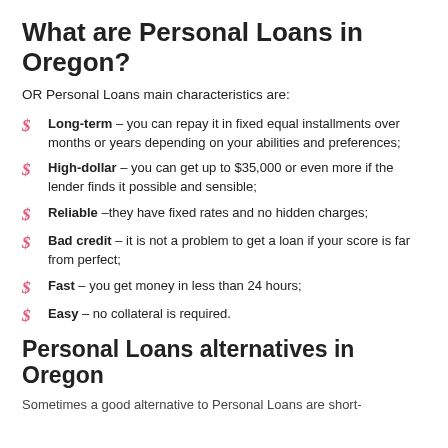What are Personal Loans in Oregon?
OR Personal Loans main characteristics are:
Long-term – you can repay it in fixed equal installments over months or years depending on your abilities and preferences;
High-dollar – you can get up to $35,000 or even more if the lender finds it possible and sensible;
Reliable –they have fixed rates and no hidden charges;
Bad credit – it is not a problem to get a loan if your score is far from perfect;
Fast – you get money in less than 24 hours;
Easy – no collateral is required.
Personal Loans alternatives in Oregon
Sometimes a good alternative to Personal Loans are short-